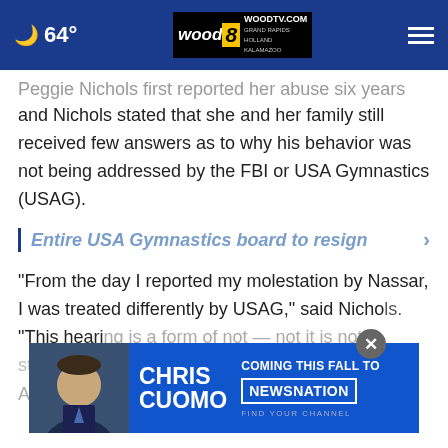64° | WOODTV.COM GRAND RAPIDS HOLLAND KALAMAZOO | wood 8 tv
and Nichols stated that she and her family still received few answers as to why his behavior was not being addressed by the FBI or USA Gymnastics (USAG).
Entire USA Gymnastics board to resign
“From the day I reported my molestation by Nassar, I was treated differently by USAG,” said Nichols. “This hearing is a form of not — not justice.”
Aly Raisman’s testimony addresses that six years